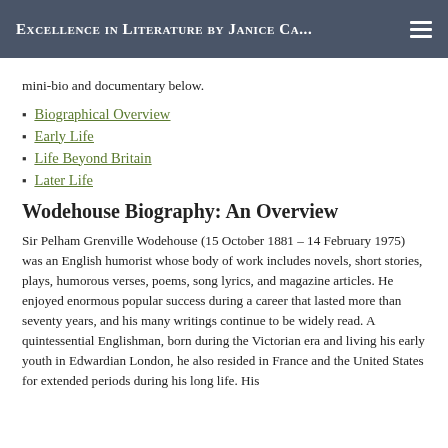Excellence in Literature by Janice Ca...
mini-bio and documentary below.
Biographical Overview
Early Life
Life Beyond Britain
Later Life
Wodehouse Biography: An Overview
Sir Pelham Grenville Wodehouse (15 October 1881 – 14 February 1975) was an English humorist whose body of work includes novels, short stories, plays, humorous verses, poems, song lyrics, and magazine articles. He enjoyed enormous popular success during a career that lasted more than seventy years, and his many writings continue to be widely read. A quintessential Englishman, born during the Victorian era and living his early youth in Edwardian London, he also resided in France and the United States for extended periods during his long life. His